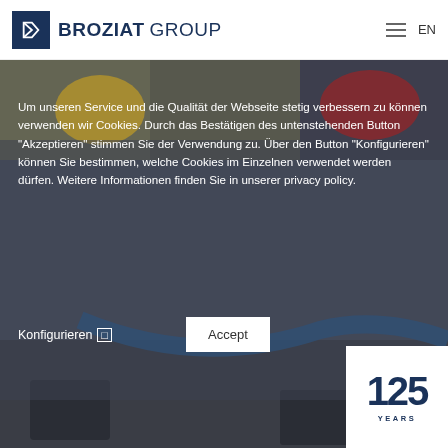BROZIAT GROUP | EN
[Figure (screenshot): Blurred warehouse/industrial background photo with workers in high-visibility vests and industrial equipment]
Um unseren Service und die Qualität der Webseite stetig verbessern zu können verwenden wir Cookies. Durch das Bestätigen des untenstehenden Button "Akzeptieren" stimmen Sie der Verwendung zu. Über den Button "Konfigurieren" können Sie bestimmen, welche Cookies im Einzelnen verwendet werden dürfen. Weitere Informationen finden Sie in unserer privacy policy.
Konfigurieren  ☐
Accept
[Figure (logo): 125 YEARS badge — large bold '125' in dark navy blue on white background with 'YEARS' text beneath]